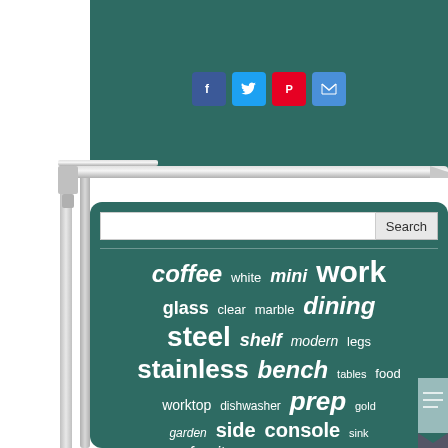[Figure (infographic): Tag cloud on dark teal background with words: coffee, white, mini, work, glass, clear, marble, dining, steel, shelf, modern, legs, stainless, bench, tables, food, worktop, dishwasher, prep, gold, garden, side, console, sink, furniture, outdoor, tempered, commercial, kitchen, duty]
[Figure (infographic): Social media share icons: Facebook, Twitter, Pinterest, Email]
[Figure (photo): Stainless steel shelf/table with metal legs on white background]